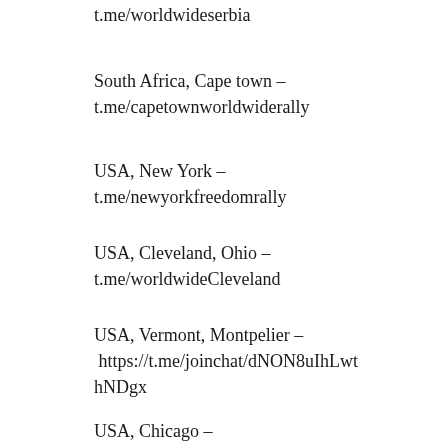t.me/worldwideserbia
South Africa, Cape town – t.me/capetownworldwiderally
USA, New York – t.me/newyorkfreedomrally
USA, Cleveland, Ohio – t.me/worldwideCleveland
USA, Vermont, Montpelier – https://t.me/joinchat/dNON8uIhLwthNDgx
USA, Chicago –